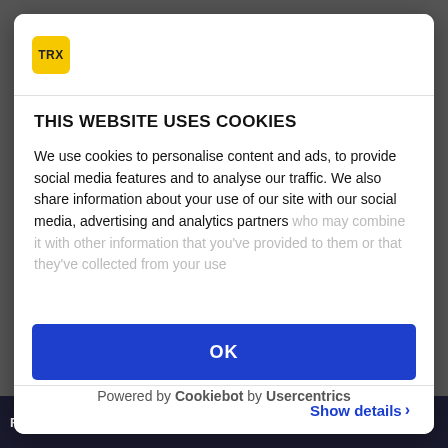[Figure (logo): TRX logo: yellow square with black TRX text]
THIS WEBSITE USES COOKIES
We use cookies to personalise content and ads, to provide social media features and to analyse our traffic. We also share information about your use of our site with our social media, advertising and analytics partners who may combine it with other information that you've provided to them or that they've collected from your use
Show details >
OK
Powered by Cookiebot by Usercentrics
FEMALE ATHLETE